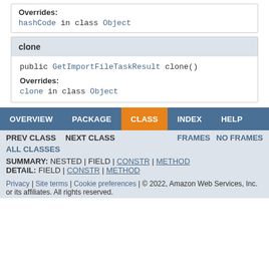Overrides: hashCode in class Object
clone
public GetImportFileTaskResult clone()
Overrides: clone in class Object
OVERVIEW | PACKAGE | CLASS | INDEX | HELP | PREV CLASS | NEXT CLASS | FRAMES | NO FRAMES | ALL CLASSES | SUMMARY: NESTED | FIELD | CONSTR | METHOD | DETAIL: FIELD | CONSTR | METHOD | Privacy | Site terms | Cookie preferences | © 2022, Amazon Web Services, Inc. or its affiliates. All rights reserved.